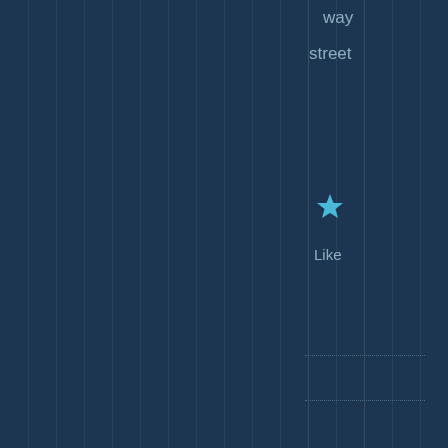way
street
[Figure (illustration): Blue star icon representing a 'Like' button]
Like
Lander7
December 21, 2019 · 5:45 am
Still not on